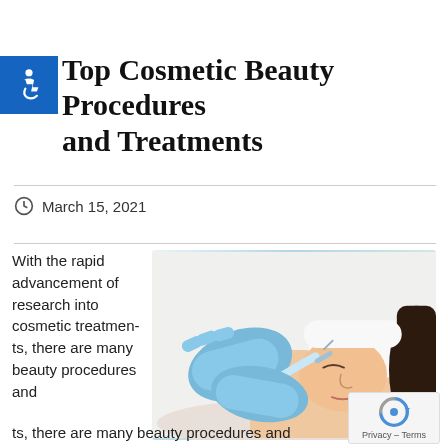Top Cosmetic Beauty Procedures and Treatments
March 15, 2021
With the rapid advancement of research into cosmetic treatments, there are many beauty procedures and
[Figure (photo): A medical professional wearing blue latex gloves administering an injection to a woman's face. The woman is lying down, wearing a white headband, with eyes closed.]